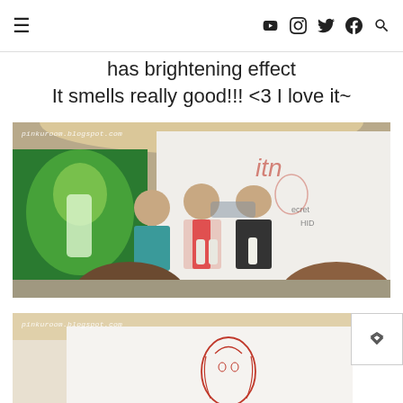Navigation header with hamburger menu and social icons (YouTube, Instagram, Twitter, Facebook, Search)
has brightening effect
It smells really good!!! <3 I love it~
[Figure (photo): Three women standing at a brand event in front of a backdrop with a beauty brand logo. A green display panel is visible on the left. The women are holding product bottles. Two audience members are visible from behind in the foreground. Watermark: pinkuroom.blogspot.com]
[Figure (photo): Partial view of a beauty brand backdrop with a red illustrated female face logo. Watermark: pinkuroom.blogspot.com]